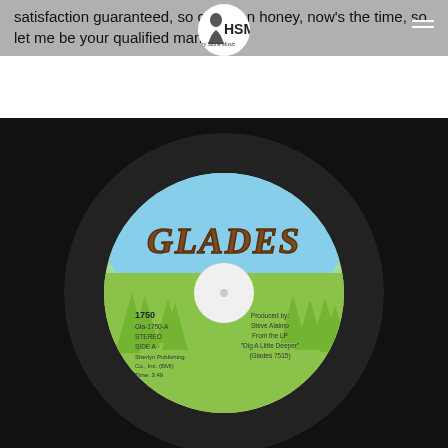satisfaction guaranteed, so come on honey, now's the time, so let me be your qualified man.
[Figure (photo): A vinyl 45 RPM record with a Glades Records label. The label is light blue and green with illustrated pine trees. It shows catalog number 1750, Gla-1750-A, STEREO, SIDE A, Sherlyn Publishing Co., Inc. (BMI), Time: 3:49. On the right side: Produced by: Steve Alaimo From the LP 'Dig A Little Deeper' (Glades 7515). The word GLADES appears in large brown bubble lettering at the top of the label.]